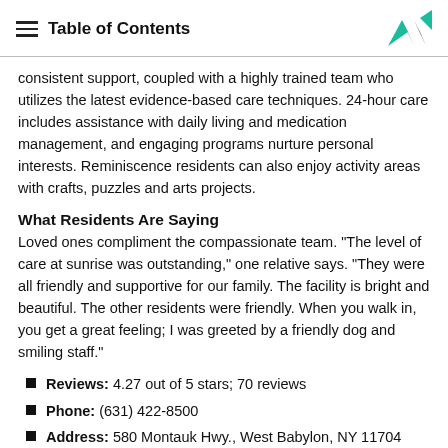Table of Contents
consistent support, coupled with a highly trained team who utilizes the latest evidence-based care techniques. 24-hour care includes assistance with daily living and medication management, and engaging programs nurture personal interests. Reminiscence residents can also enjoy activity areas with crafts, puzzles and arts projects.
What Residents Are Saying
Loved ones compliment the compassionate team. "The level of care at sunrise was outstanding," one relative says. "They were all friendly and supportive for our family. The facility is bright and beautiful. The other residents were friendly. When you walk in, you get a great feeling; I was greeted by a friendly dog and smiling staff."
Reviews: 4.27 out of 5 stars; 70 reviews
Phone: (631) 422-8500
Address: 580 Montauk Hwy., West Babylon, NY 11704